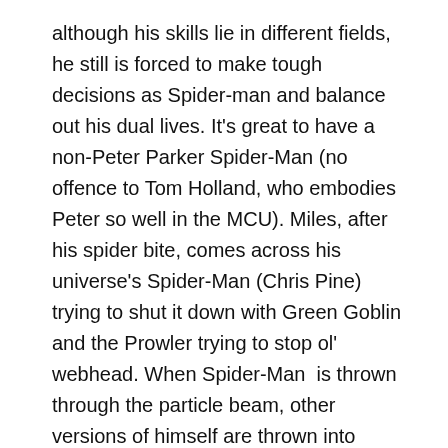although his skills lie in different fields, he still is forced to make tough decisions as Spider-man and balance out his dual lives. It's great to have a non-Peter Parker Spider-Man (no offence to Tom Holland, who embodies Peter so well in the MCU). Miles, after his spider bite, comes across his universe's Spider-Man (Chris Pine) trying to shut it down with Green Goblin and the Prowler trying to stop ol' webhead. When Spider-Man  is thrown through the particle beam, other versions of himself are thrown into Mile's life. They must all team up to take down Kingpin before he uses the machine again and tears apart NYC.  No worries, true believers, I won't go any further into the plot details, just to note loads of surprises, great character moments, and fantastic fight sequences.